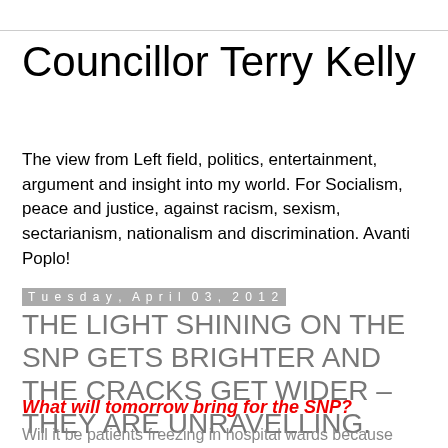Councillor Terry Kelly
The view from Left field, politics, entertainment, argument and insight into my world. For Socialism, peace and justice, against racism, sexism, sectarianism, nationalism and discrimination. Avanti Poplo!
Tuesday, April 03, 2012
THE LIGHT SHINING ON THE SNP GETS BRIGHTER AND THE CRACKS GET WIDER – THEY ARE UNRAVELLING.
What will tomorrow bring for the SNP?
Will it be patients freezing in hospital wards because they have no blankets?